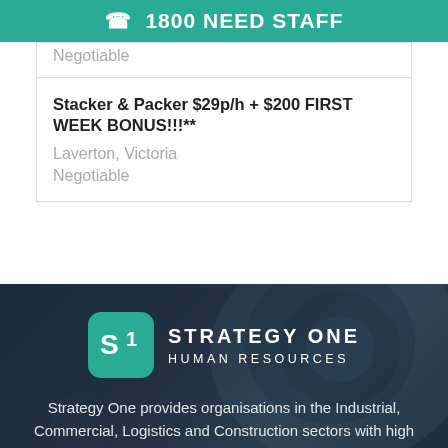1800 NEED STAFF
Negotiable
Stacker & Packer $29p/h + $200 FIRST WEEK BONUS!!!**
Laverton, Victoria
Negotiable
[Figure (logo): Strategy One Human Resources logo — teal rounded square with S1 monogram, white text STRATEGY ONE HUMAN RESOURCES]
Strategy One provides organisations in the Industrial, Commercial, Logistics and Construction sectors with high quality…